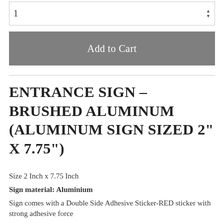1
Add to Cart
ENTRANCE SIGN – BRUSHED ALUMINUM (ALUMINUM SIGN SIZED 2" X 7.75")
Size 2 Inch x 7.75 Inch
Sign material: Aluminium
Sign comes with a Double Side Adhesive Sticker-RED sticker with strong adhesive force
Sign Thickness 0.02"